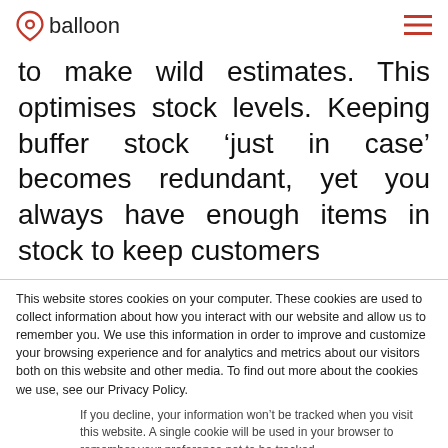balloon
to make wild estimates. This optimises stock levels. Keeping buffer stock ‘just in case’ becomes redundant, yet you always have enough items in stock to keep customers
This website stores cookies on your computer. These cookies are used to collect information about how you interact with our website and allow us to remember you. We use this information in order to improve and customize your browsing experience and for analytics and metrics about our visitors both on this website and other media. To find out more about the cookies we use, see our Privacy Policy.
If you decline, your information won’t be tracked when you visit this website. A single cookie will be used in your browser to remember your preference not to be tracked.